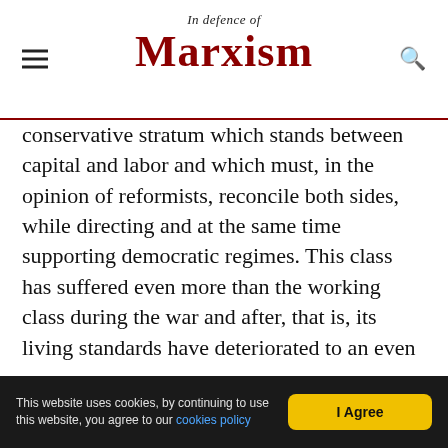In Defence of Marxism
conservative stratum which stands between capital and labor and which must, in the opinion of reformists, reconcile both sides, while directing and at the same time supporting democratic regimes. This class has suffered even more than the working class during the war and after, that is, its living standards have deteriorated to an even greater degree than the living standards of the working class. The main reason for this is the decline in the purchasing power of money, the depreciation of paper currency. In all European countries this has given rise to sharp discontent among the lowest and
This website uses cookies, by continuing to use this website, you agree to our cookies policy
I Agree